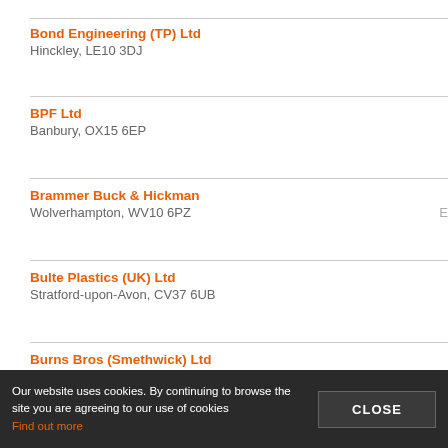Bond Engineering (TP) Ltd
Hinckley, LE10 3DJ
BPF Ltd
Banbury, OX15 6EP
Brammer Buck & Hickman
Wolverhampton, WV10 6PZ
Bulte Plastics (UK) Ltd
Stratford-upon-Avon, CV37 6UB
Burns Bros (Smethwick) Ltd
Oldbury, B69 2BS
Capatex Ltd
Nottingham, NG7 7EZ
Our website uses cookies. By continuing to browse the site you are agreeing to our use of cookies
Find out more